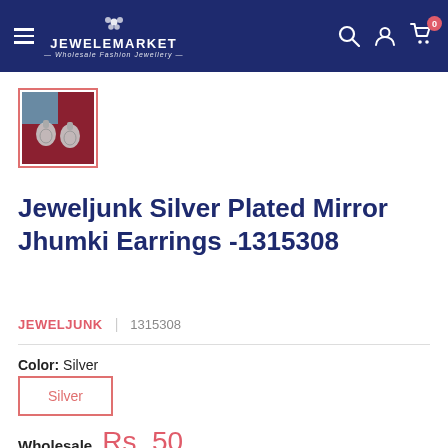JEWELEMARKET — Wholesale Fashion Jewellery
[Figure (photo): Thumbnail image of silver plated Jhumki earrings on a dark red background, shown in a red-bordered square frame]
Jeweljunk Silver Plated Mirror Jhumki Earrings -1315308
JEWELJUNK | 1315308
Color: Silver
Silver
Wholesale Rs. 50